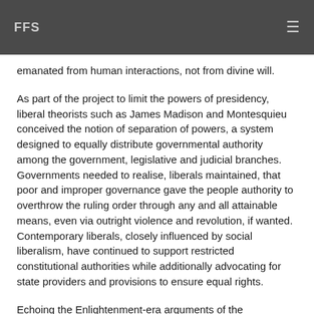FFS
emanated from human interactions, not from divine will.
As part of the project to limit the powers of presidency, liberal theorists such as James Madison and Montesquieu conceived the notion of separation of powers, a system designed to equally distribute governmental authority among the government, legislative and judicial branches. Governments needed to realise, liberals maintained, that poor and improper governance gave the people authority to overthrow the ruling order through any and all attainable means, even via outright violence and revolution, if wanted. Contemporary liberals, closely influenced by social liberalism, have continued to support restricted constitutional authorities while additionally advocating for state providers and provisions to ensure equal rights.
Echoing the Enlightenment-era arguments of the Englishman John Locke, people are by nature “free and independent”; consider them in a “state of nature,” capable of do and select what they need. According to such a view of the social contract,